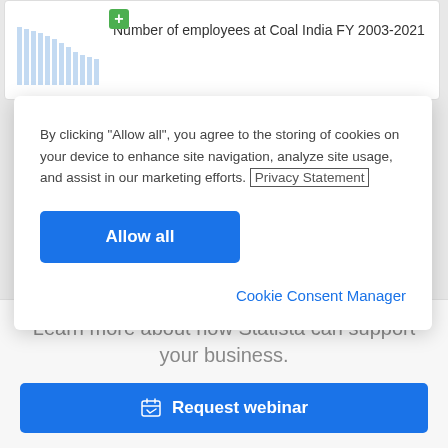[Figure (screenshot): Partial bar chart thumbnail showing decreasing bars representing number of employees at Coal India FY 2003-2021]
Number of employees at Coal India FY 2003-2021
By clicking “Allow all”, you agree to the storing of cookies on your device to enhance site navigation, analyze site usage, and assist in our marketing efforts. Privacy Statement
Allow all
Cookie Consent Manager
Learn more about how Statista can support your business.
Request webinar